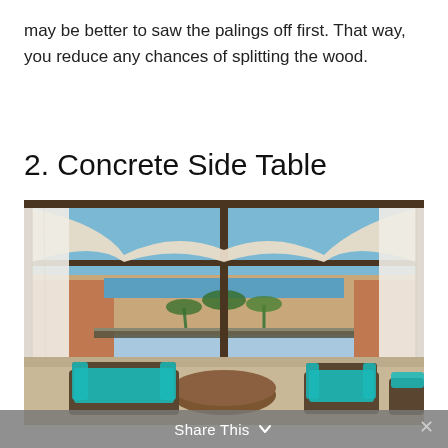may be better to saw the palings off first. That way, you reduce any chances of splitting the wood.
2. Concrete Side Table
[Figure (photo): An outdoor pergola/cabana with dark wood frame, cream draped fabric canopy swaying in breeze, white sheer curtains on the sides, turquoise/teal cushioned wicker furniture set including sofa and chairs around a round wicker table, terracotta building walls and palm trees visible in background, ocean/blue sky visible.]
Share This